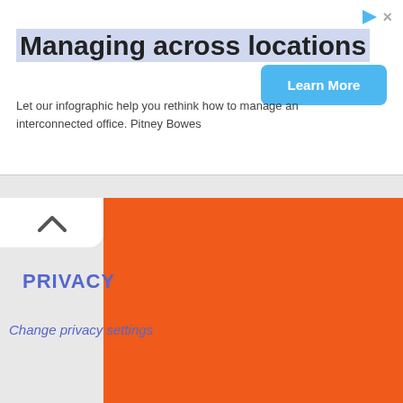[Figure (other): Advertisement banner for Pitney Bowes with title 'Managing across locations', descriptive text, and a blue 'Learn More' button]
Managing across locations
Let our infographic help you rethink how to manage an interconnected office. Pitney Bowes
PRIVACY
Change privacy settings
FIND US ON FACEBOOK
Advertising